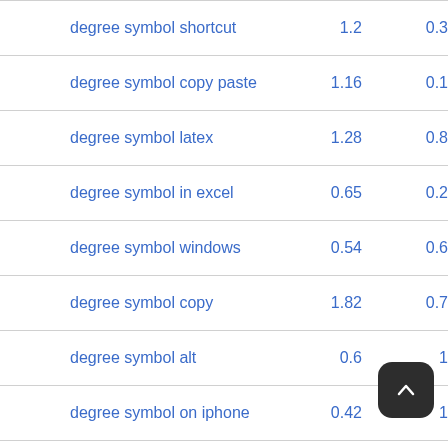| Keyword | Col1 | Col2 |
| --- | --- | --- |
| degree symbol shortcut | 1.2 | 0.3 |
| degree symbol copy paste | 1.16 | 0.1 |
| degree symbol latex | 1.28 | 0.8 |
| degree symbol in excel | 0.65 | 0.2 |
| degree symbol windows | 0.54 | 0.6 |
| degree symbol copy | 1.82 | 0.7 |
| degree symbol alt | 0.6 | 1 |
| degree symbol on iphone | 0.42 | 1 |
| degree symbol keyboard shortcut | 0.49 | 0.2 |